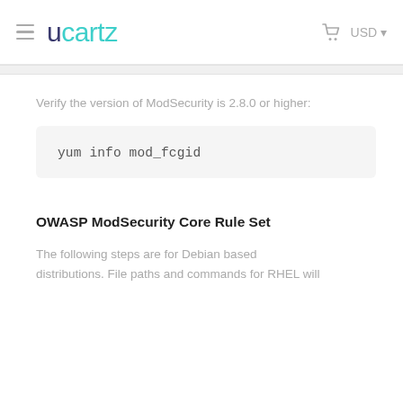Ucartz — USD
Verify the version of ModSecurity is 2.8.0 or higher:
yum info mod_fcgid
OWASP ModSecurity Core Rule Set
The following steps are for Debian based distributions. File paths and commands for RHEL will